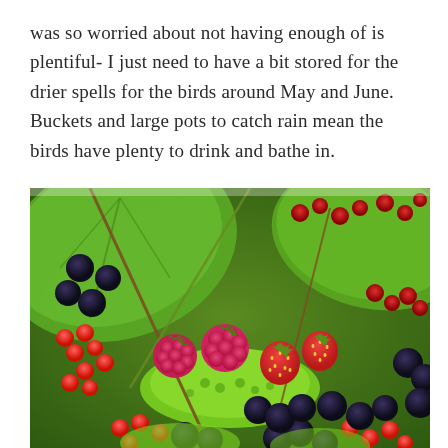was so worried about not having enough of is plentiful- I just need to have a bit stored for the drier spells for the birds around May and June. Buckets and large pots to catch rain mean the birds have plenty to drink and bathe in.
[Figure (photo): Close-up photograph of mixed garden berries including red currants, blackcurrants, raspberries, strawberries, and blackberries among green leaves and foliage.]